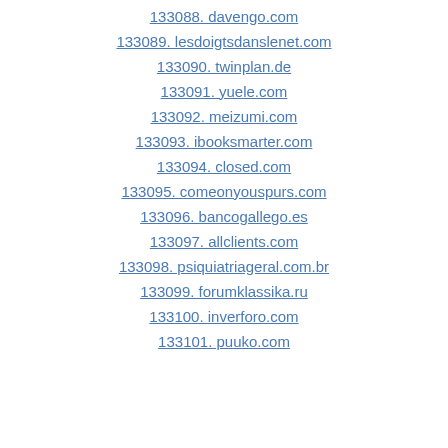133088. davengo.com
133089. lesdoigtsdanslenet.com
133090. twinplan.de
133091. yuele.com
133092. meizumi.com
133093. ibooksmarter.com
133094. closed.com
133095. comeonyouspurs.com
133096. bancogallego.es
133097. allclients.com
133098. psiquiatriageral.com.br
133099. forumklassika.ru
133100. inverforo.com
133101. puuko.com